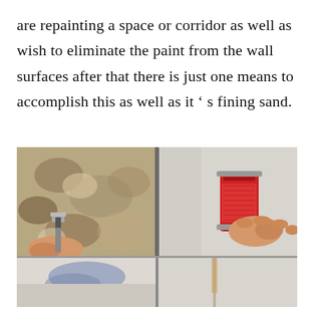are repainting a space or corridor as well as wish to eliminate the paint from the wall surfaces after that there is just one means to accomplish this as well as it ' s fining sand.
[Figure (photo): Composite image showing two rows of wall preparation/painting scenes. Top row left: a hand using a scraper/putty knife to remove old flaking paint from a textured wall. Top row right: a hand holding a red sanding block/sander against a smooth light-colored wall surface. Bottom row: partially visible scenes of painting/plastering work.]